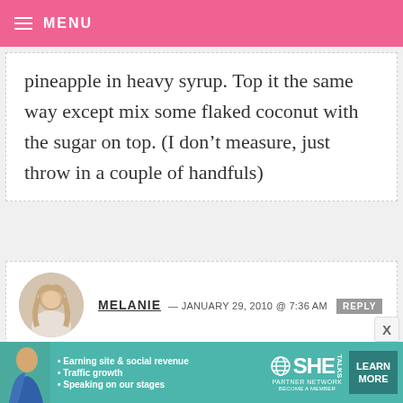MENU
pineapple in heavy syrup. Top it the same way except mix some flaked coconut with the sugar on top. (I don't measure, just throw in a couple of handfuls)
MELANIE — JANUARY 29, 2010 @ 7:36 AM REPLY
Looks yummy and there isn't anything easier, is there?
[Figure (photo): Advertisement banner for SHE Partner Network with a woman's photo and text: Earning site & social revenue, Traffic growth, Speaking on our stages, BECOME A MEMBER, with LEARN MORE button]